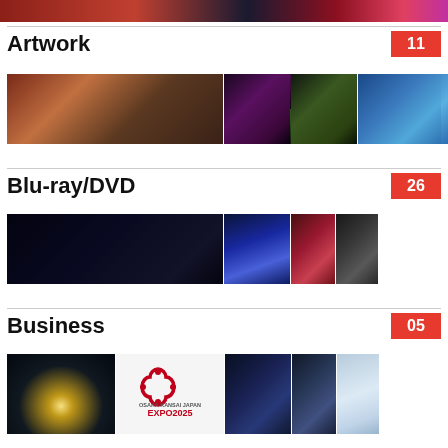Artwork  11
[Figure (photo): Gundam artwork gallery images - anime artwork collage]
Blu-ray/DVD  26
[Figure (photo): Blu-ray/DVD products collage - dark mecha and anime scenes]
Business  05
[Figure (photo): Business section - Gundam Pavilion, Osaka Kansai Japan EXPO 2025, and other images]